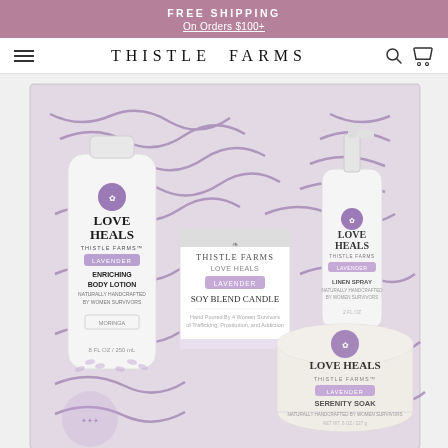FREE SHIPPING
On Orders $100+
THISTLE FARMS
[Figure (photo): A gift box filled with purple shredded paper containing Thistle Farms Love Heals Lavender products: Enriching Body Lotion tube, Lavender Soy Blend Candle box, Love Heals Linen Spray bottle, and Love Heals Serenity Soak jar.]